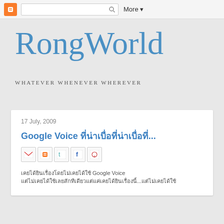More ▼
RongWorld
Whatever Whenever Wherever
17 July, 2009
Google Voice ที่น่าเบื่อ...
เคยได้ยินเรื่อง Google Voice เคยได้ยินเรื่องนี้...แต่ไม่เคยได้ใช้